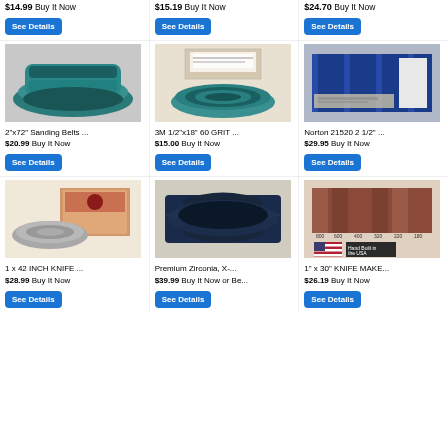$14.99 Buy It Now
See Details
$15.19 Buy It Now
See Details
$24.70 Buy It Now
See Details
[Figure (photo): Teal/blue sanding belt coiled]
2"x72" Sanding Belts ...
$20.99 Buy It Now
See Details
[Figure (photo): 3M sanding belt roll in teal with packaging]
3M 1/2"x18" 60 GRIT ...
$15.00 Buy It Now
See Details
[Figure (photo): Norton blue abrasive sheets in box]
Norton 21520 2 1/2" ...
$29.95 Buy It Now
See Details
[Figure (photo): 1x42 knife sanding belt with Pro Label box]
1 x 42 INCH KNIFE ...
$28.99 Buy It Now
See Details
[Figure (photo): Premium Zirconia dark blue sanding belt]
Premium Zirconia, X-...
$39.99 Buy It Now or Be...
See Details
[Figure (photo): 1x30 knife maker sanding belts assorted grits with US flag]
1" x 30" KNIFE MAKE...
$26.19 Buy It Now
See Details